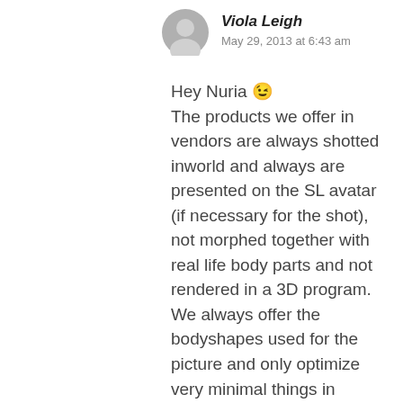[Figure (illustration): Gray placeholder avatar icon (person silhouette)]
Viola Leigh
May 29, 2013 at 6:43 am
Hey Nuria 😉 The products we offer in vendors are always shotted inworld and always are presented on the SL avatar (if necessary for the shot), not morphed together with real life body parts and not rendered in a 3D program. We always offer the bodyshapes used for the picture and only optimize very minimal things in Photoshop. We do sometimes use background images not from SL, often heavily blurred, because we feel that this does not affect the product, since you can choose any background